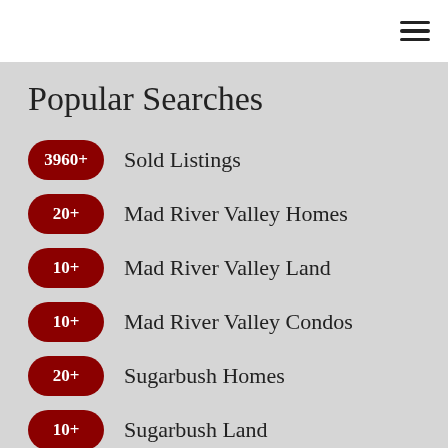Popular Searches
3960+ Sold Listings
20+ Mad River Valley Homes
10+ Mad River Valley Land
10+ Mad River Valley Condos
20+ Sugarbush Homes
10+ Sugarbush Land
10+ Sugarbush Condos
<10 East Warren Properties
10+ Estate Parcels
30+ Farms and Land